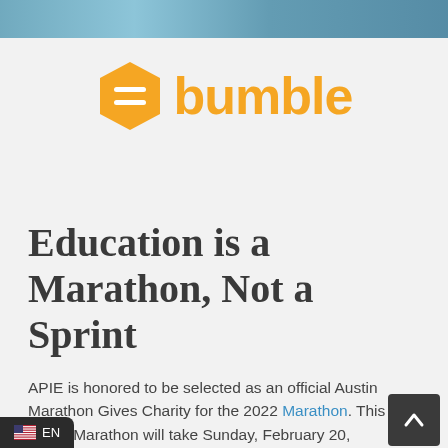[Figure (photo): Top strip showing a blurred outdoor/nature photo, cropped to a thin bar at the top of the page]
[Figure (logo): Bumble logo — yellow hexagon icon with two horizontal lines, followed by the word 'bumble' in bold yellow text]
Education is a Marathon, Not a Sprint
APIE is honored to be selected as an official Austin Marathon Gives Charity for the 2022 Marathon. This year's Marathon will take Sunday, February 20, 2022. In 2021, we